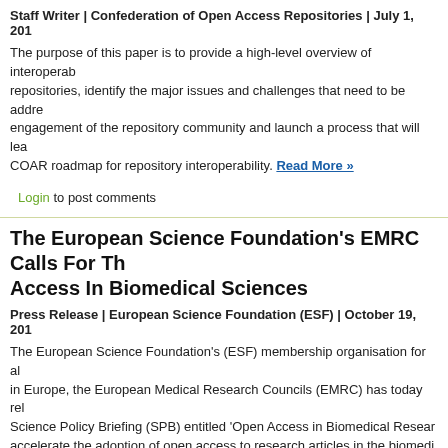Staff Writer | Confederation of Open Access Repositories | July 1, 201...
The purpose of this paper is to provide a high-level overview of interoperab... repositories, identify the major issues and challenges that need to be addre... engagement of the repository community and launch a process that will lea... COAR roadmap for repository interoperability. Read More »
Login to post comments
The European Science Foundation's EMRC Calls For Th... Access In Biomedical Sciences
Press Release | European Science Foundation (ESF) | October 19, 201...
The European Science Foundation's (ESF) membership organisation for al... in Europe, the European Medical Research Councils (EMRC) has today rel... Science Policy Briefing (SPB) entitled 'Open Access in Biomedical Resear... accelerate the adoption of open access to research articles in the biomedi... Read More »
Login to post comments
Tutorial 19b: Open Access Definitions And Clarifications... Green
Mike Taylor | epryw.com | November 16, 2012...